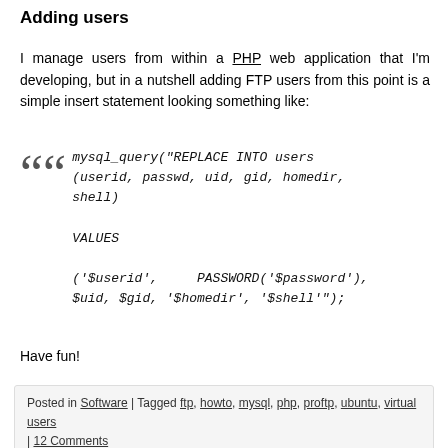Adding users
I manage users from within a PHP web application that I'm developing, but in a nutshell adding FTP users from this point is a simple insert statement looking something like:
mysql_query("REPLACE INTO users (userid, passwd, uid, gid, homedir, shell) VALUES ('$userid', PASSWORD('$password'), $uid, $gid, '$homedir', '$shell'");
Have fun!
Posted in Software | Tagged ftp, howto, mysql, php, proftp, ubuntu, virtual users | 12 Comments